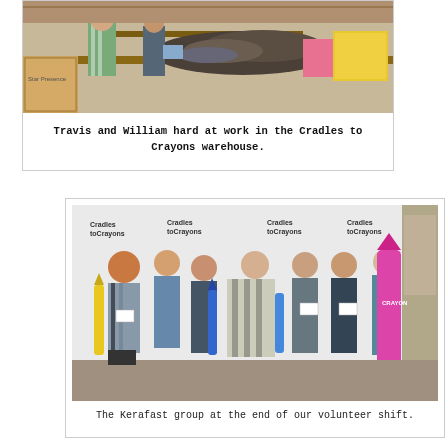[Figure (photo): Travis and William sorting clothes/items at tables in the Cradles to Crayons warehouse, with cardboard boxes visible in background]
Travis and William hard at work in the Cradles to Crayons warehouse.
[Figure (photo): Group photo of the Kerafast volunteers holding giant crayon props in front of a Cradles to Crayons branded backdrop]
The Kerafast group at the end of our volunteer shift.